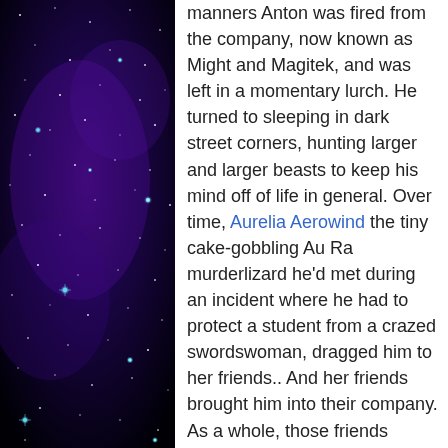[Figure (photo): A starry night sky photo with deep purple and black tones, featuring bright teal/cyan colored stars scattered throughout.]
manners Anton was fired from the company, now known as Might and Magitek, and was left in a momentary lurch. He turned to sleeping in dark street corners, hunting larger and larger beasts to keep his mind off of life in general. Over time, Aurelia Aerowind the tiny cake-gobbling Au Ra murderlizard he'd met during an incident where he had to protect a student from a crazed swordswoman, dragged him to her friends.. And her friends brought him into their company. As a whole, those friends shoved Aurelia and Anton together as a couple rather hastily. During this time he still regularly visited his sister, sneaking around her guardian when necessary... But it did not last much longer, the sleeping